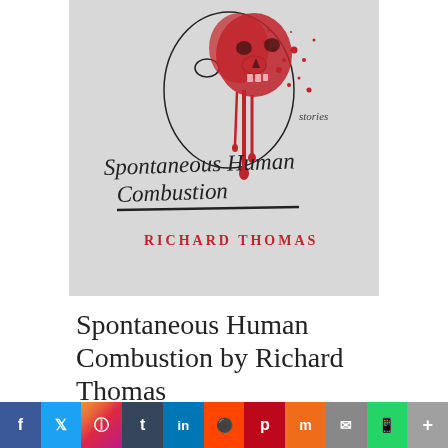[Figure (illustration): Book cover of 'Spontaneous Human Combustion: stories' by Richard Thomas. Features a dark illustration of a skull with red splatter/blood on a light gray background. The title is written in a hand-lettered style in dark ink with a red underline stroke. The author's name 'RICHARD THOMAS' appears in red serif capitals below the title.]
Spontaneous Human Combustion by Richard Thomas
f  twitter  instagram  t  in  reddit  p  mix  mail  whatsapp  +